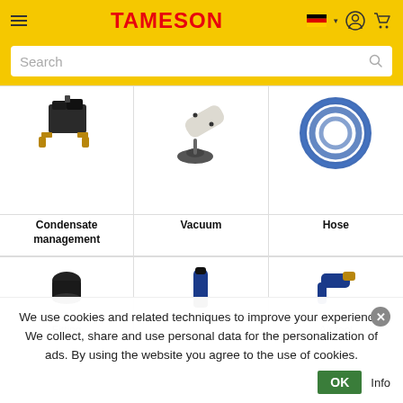TAMESON
Search
[Figure (photo): Condensate management product - electronic timer valve with brass fittings]
Condensate management
[Figure (photo): Vacuum product - cylindrical body with suction cup base]
Vacuum
[Figure (photo): Hose product - coiled blue pneumatic hose]
Hose
[Figure (photo): Fitting product - partial image at bottom]
Fitting
[Figure (photo): Air tool - blue cylindrical tool, partial image at bottom]
[Figure (photo): Air tool - blue/gold tool, partial image at bottom]
Air tool
We use cookies and related techniques to improve your experience. We collect, share and use personal data for the personalization of ads. By using the website you agree to the use of cookies.